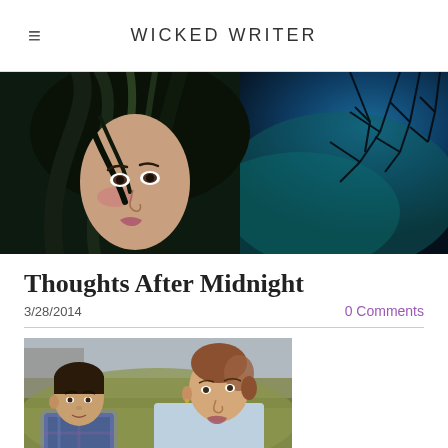WICKED WRITER
[Figure (illustration): Fantasy illustration of a young girl with dark flowing hair and green highlights against a dark blue night sky with bare tree branches]
Thoughts After Midnight
3/28/2014   0 Comments
[Figure (photo): Photo of a teenage boy in a plaid shirt and a woman in a light blue cardigan sitting outdoors among tall grass]